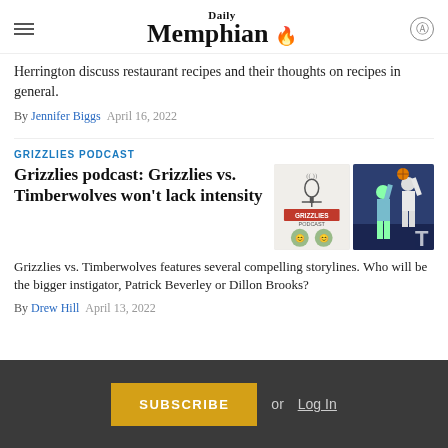Daily Memphian
Herrington discuss restaurant recipes and their thoughts on recipes in general.
By Jennifer Biggs   April 16, 2022
GRIZZLIES PODCAST
Grizzlies podcast: Grizzlies vs. Timberwolves won't lack intensity
[Figure (illustration): Two panel image: left panel shows Grizzlies Podcast logo with microphone and two host photos; right panel shows basketball game action photo with players jumping]
Grizzlies vs. Timberwolves features several compelling storylines. Who will be the bigger instigator, Patrick Beverley or Dillon Brooks?
By Drew Hill   April 13, 2022
SUBSCRIBE or Log In